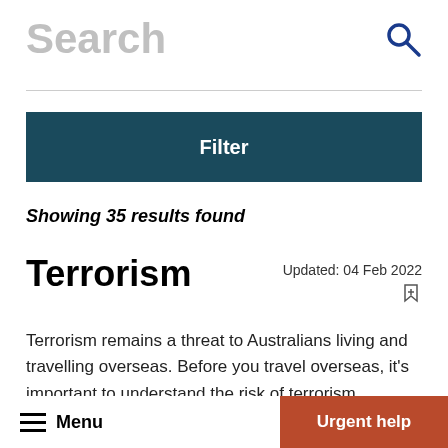Search
Filter
Showing 35 results found
Terrorism
Updated: 04 Feb 2022
Terrorism remains a threat to Australians living and travelling overseas. Before you travel overseas, it's important to understand the risk of terrorism
Menu   Urgent help